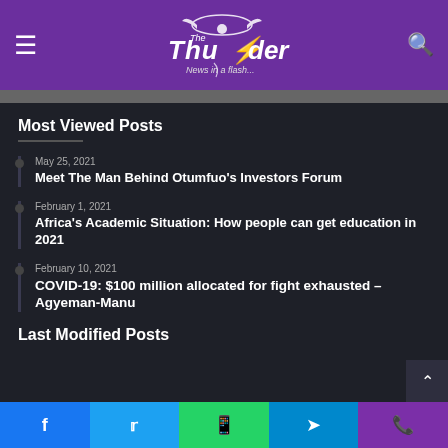[Figure (logo): The Thunder - News in a flash... logo on purple background with hamburger menu and search icon]
Most Viewed Posts
May 25, 2021 — Meet The Man Behind Otumfuo's Investors Forum
February 1, 2021 — Africa's Academic Situation: How people can get education in 2021
February 10, 2021 — COVID-19: $100 million allocated for fight exhausted – Agyeman-Manu
Last Modified Posts